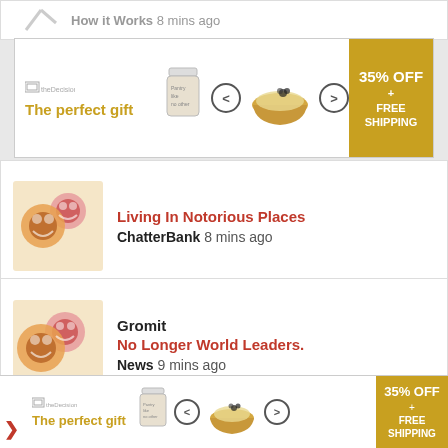How it Works 8 mins ago
[Figure (infographic): Advertisement banner: The perfect gift - food product with 35% OFF + FREE SHIPPING]
Living In Notorious Places
ChatterBank 8 mins ago
Gromit
No Longer World Leaders.
News 9 mins ago
Spicerack
York Ebor Meeting
Other Sports 15 mins ago
[Figure (infographic): Bottom ad banner: The perfect gift - food product with 35% OFF + FREE SHIPPING]